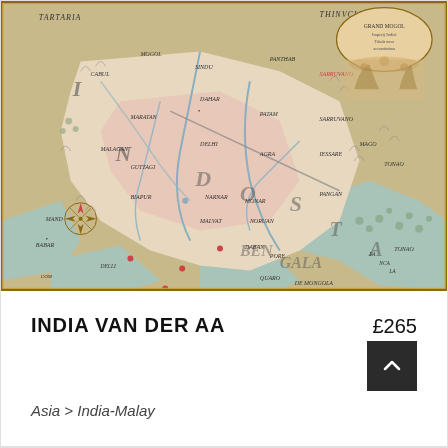[Figure (map): Antique hand-coloured map of India/South Asia region, titled 'India Van Der Aa'. The map shows historical cartography of the Indian subcontinent with place names in Latin/Dutch including Tartaria, Bengala, Dosta, and various rivers and cities. Features decorative cartouche in upper right corner and compass rose in lower left. Warm yellow-brown and pink colouring typical of 17th/18th century maps.]
INDIA VAN DER AA
£265
Asia > India-Malay